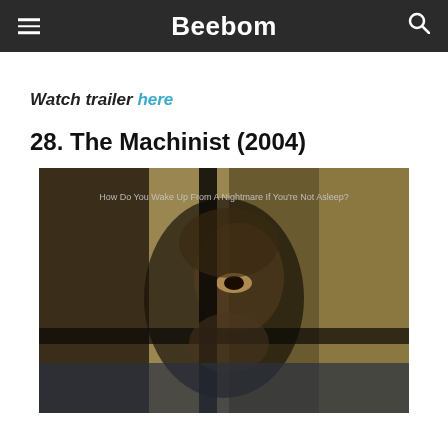Beebom
Watch trailer here
28. The Machinist (2004)
[Figure (photo): Movie poster for The Machinist (2004) showing a gaunt man's face fragmented across panels with text 'How Do You Wake Up From A Nightmare If You're Not Asleep?']